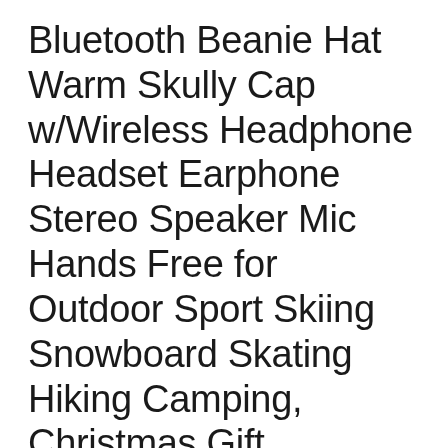Bluetooth Beanie Hat Warm Skully Cap w/Wireless Headphone Headset Earphone Stereo Speaker Mic Hands Free for Outdoor Sport Skiing Snowboard Skating Hiking Camping, Christmas Gift
Leave a Comment / Tech Gifts / By digitalupbeat
Mydeal pays extra consideration to Innovation and High quality. Any question, please contact us freely,we'll resolve it ASAP. Specs: Bluetooth Model: V4.1+EDR Dimension: one